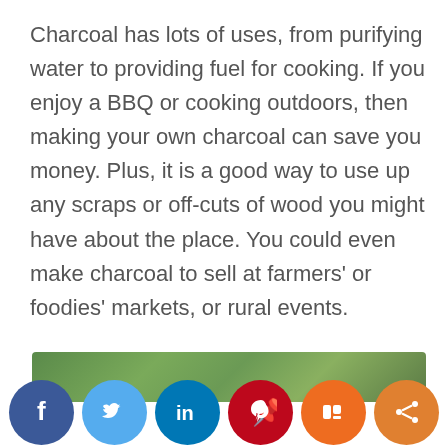Charcoal has lots of uses, from purifying water to providing fuel for cooking. If you enjoy a BBQ or cooking outdoors, then making your own charcoal can save you money. Plus, it is a good way to use up any scraps or off-cuts of wood you might have about the place. You could even make charcoal to sell at farmers' or foodies' markets, or rural events.
[Figure (photo): Partial photo of trees/woodland visible at the bottom of the page behind social sharing buttons]